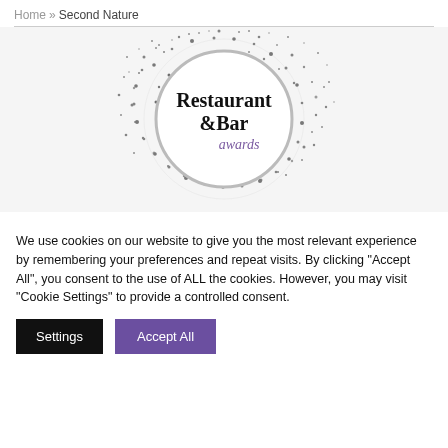Home » Second Nature
[Figure (logo): Restaurant & Bar awards logo — circular emblem with silver/black particle burst effect around a white circle containing bold text 'Restaurant &Bar' with a purple cursive 'awards' script]
We use cookies on our website to give you the most relevant experience by remembering your preferences and repeat visits. By clicking "Accept All", you consent to the use of ALL the cookies. However, you may visit "Cookie Settings" to provide a controlled consent.
Settings   Accept All